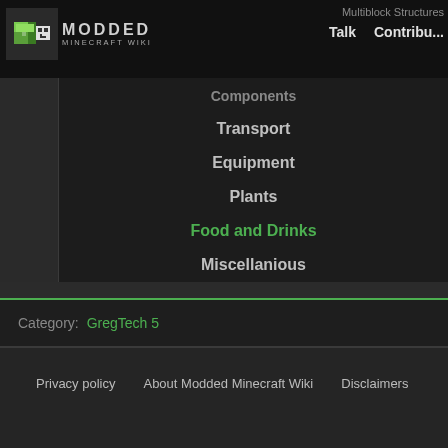Modded Minecraft Wiki | Multiblock Structures | Talk | Contribu...
Components
Transport
Equipment
Plants
Food and Drinks
Miscellanious
Concepts
Addons
Mods with Integration
Category: GregTech 5
Privacy policy  About Modded Minecraft Wiki  Disclaimers